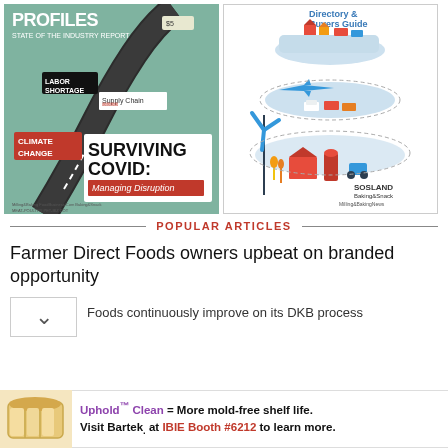[Figure (illustration): Magazine cover: Operator Profiles State of the Industry Report, featuring road with signs for Labor Shortage, Supply Chain, Climate Change, and headline SURVIVING COVID: Managing Disruption. Baking & Snack publication.]
[Figure (illustration): Magazine cover: Directory & Buyers Guide featuring layered platform illustration with wind turbine, farm, vehicles, airplane. Sosland Publishing, Baking & Snack, Milling & Baking News.]
POPULAR ARTICLES
Farmer Direct Foods owners upbeat on branded opportunity
Foods continuously improve on its DKB process
[Figure (illustration): Advertisement banner: bread loaf image on left. Text: Uphold Clean = More mold-free shelf life. Visit Bartek. at IBIE Booth #6212 to learn more.]